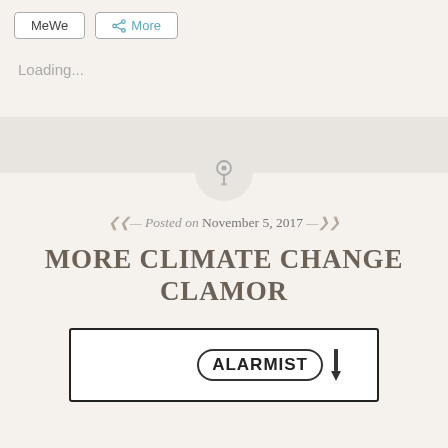MeWe   More
Loading...
[Figure (illustration): Gray horizontal band/divider]
[Figure (illustration): Circle with pin/thumbtack icon]
Posted on November 5, 2017
MORE CLIMATE CHANGE CLAMOR
[Figure (illustration): Cartoon drawing showing a box with ALARMIST badge label and a pencil]